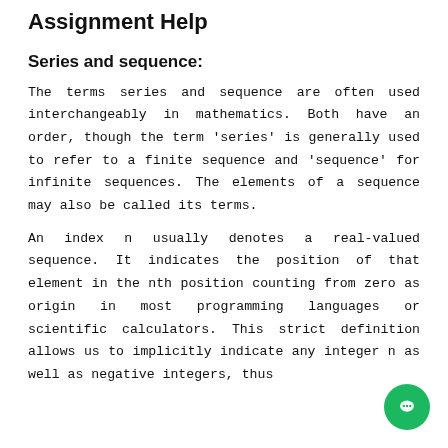Topics Covered in Our Mathematical Analysis Assignment Help
Series and sequence:
The terms series and sequence are often used interchangeably in mathematics. Both have an order, though the term 'series' is generally used to refer to a finite sequence and 'sequence' for infinite sequences. The elements of a sequence may also be called its terms.
An index n usually denotes a real-valued sequence. It indicates the position of that element in the nth position counting from zero as origin in most programming languages or scientific calculators. This strict definition allows us to implicitly indicate any integer n as well as negative integers, thus